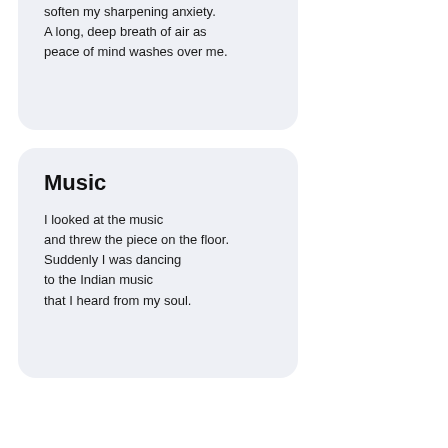soften my sharpening anxiety.
A long, deep breath of air as
peace of mind washes over me.
Music
I looked at the music
and threw the piece on the floor.
Suddenly I was dancing
to the Indian music
that I heard from my soul.